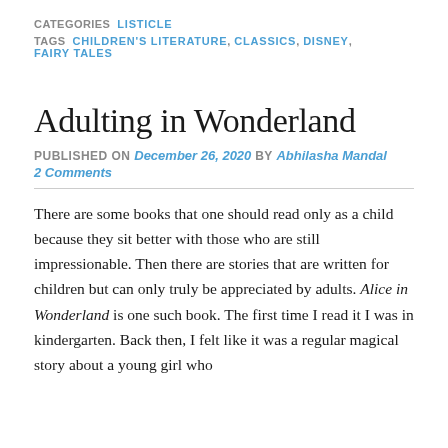CATEGORIES: LISTICLE
TAGS  CHILDREN'S LITERATURE, CLASSICS, DISNEY, FAIRY TALES
Adulting in Wonderland
PUBLISHED ON December 26, 2020 by Abhilasha Mandal
2 Comments
There are some books that one should read only as a child because they sit better with those who are still impressionable. Then there are stories that are written for children but can only truly be appreciated by adults. Alice in Wonderland is one such book. The first time I read it I was in kindergarten. Back then, I felt like it was a regular magical story about a young girl who